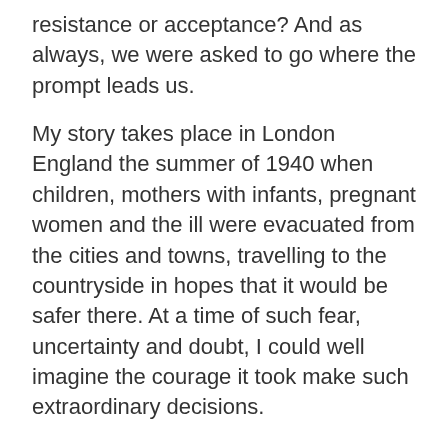resistance or acceptance? And as always, we were asked to go where the prompt leads us.
My story takes place in London England the summer of 1940 when children, mothers with infants, pregnant women and the ill were evacuated from the cities and towns, travelling to the countryside in hopes that it would be safer there. At a time of such fear, uncertainty and doubt, I could well imagine the courage it took make such extraordinary decisions.
***
Ed unlocked the front door and put on his cap.
“I’m not going!” Mattie announced. “I’m staying with you.”
“Lucy, you agreed to this. When France fell, you’d